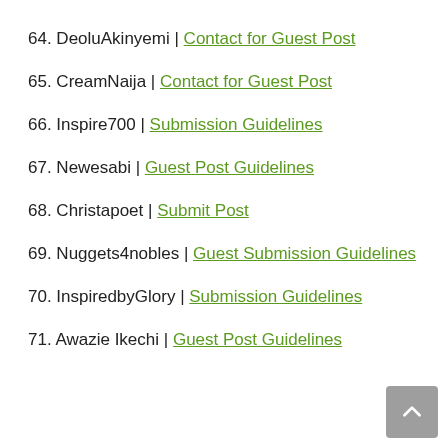64. DeoluAkinyemi | Contact for Guest Post
65. CreamNaija | Contact for Guest Post
66. Inspire700 | Submission Guidelines
67. Newesabi | Guest Post Guidelines
68. Christapoet | Submit Post
69. Nuggets4nobles | Guest Submission Guidelines
70. InspiredbyGlory | Submission Guidelines
71. Awazie Ikechi | Guest Post Guidelines